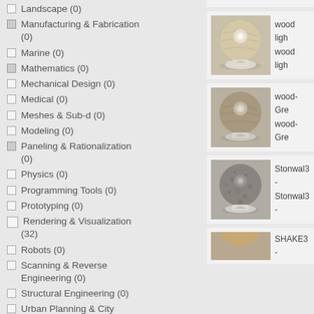Landscape (0)
Manufacturing & Fabrication (0)
Marine (0)
Mathematics (0)
Mechanical Design (0)
Medical (0)
Meshes & Sub-d (0)
Modeling (0)
Paneling & Rationalization (0)
Physics (0)
Programming Tools (0)
Prototyping (0)
Rendering & Visualization (32)
Robots (0)
Scanning & Reverse Engineering (0)
Structural Engineering (0)
Urban Planning & City
[Figure (photo): 3D render of a sphere with wood light material on a pedestal]
wood ligh
wood ligh
[Figure (photo): 3D render of a sphere with wood grey material on a pedestal]
wood- Gre
wood- Gre
[Figure (photo): 3D render of a sphere with Stonwal3 texture material on a pedestal]
Stonwal3 -
Stonwal3 -
[Figure (photo): 3D render partially visible at bottom, SHAKE3 material]
SHAKE3 -